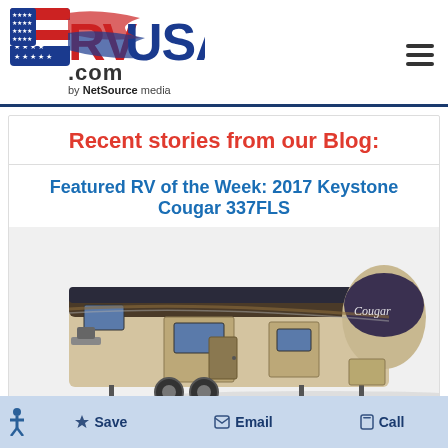RVUSA.com by NetSource media
Recent stories from our Blog:
Featured RV of the Week: 2017 Keystone Cougar 337FLS
[Figure (photo): 2017 Keystone Cougar 337FLS fifth wheel RV, tan and brown exterior with slide-outs, photographed from the side on a white background]
The Keystone Cougar is a feature rich, high quality Fifth Wheel a…
Save  Email  Call